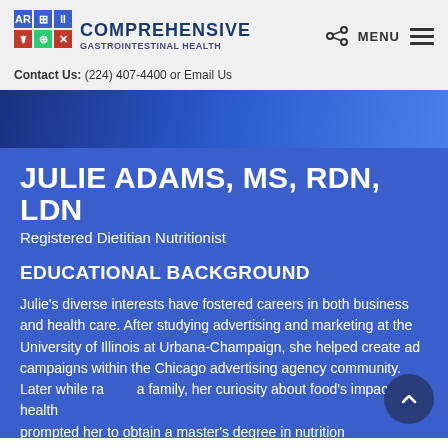Comprehensive Gastrointestinal Health — Contact Us: (224) 407-4400 or Email Us
[Figure (photo): Blue-toned photo of a person in medical attire, cropped to show upper body]
JULIE ADAMS, MS, RDN, LDN
Registered Dietitian Nutritionist
EDUCATIONAL BACKGROUND
Julie's diverse interests have fostered careers in both business and health care. After studying advertising and marketing at the University of Illinois at Urbana-Champaign, she helped create ad campaigns within the Chicago advertising agency community. Later while raising a family, her curiosity about food's impact on health prompted her to obtain a master's degree in nutrition